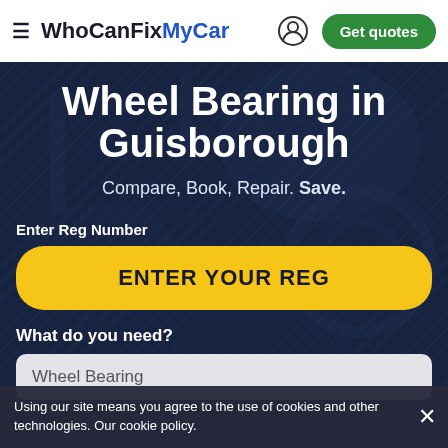WhoCanFixMyCar — Get quotes
Wheel Bearing in Guisborough
Compare, Book, Repair. Save.
Enter Reg Number
ENTER YOUR REG
What do you need?
Wheel Bearing
Using our site means you agree to the use of cookies and other technologies. Our cookie policy.